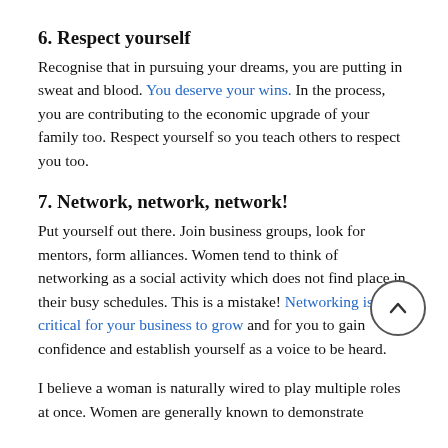6. Respect yourself
Recognise that in pursuing your dreams, you are putting in sweat and blood. You deserve your wins. In the process, you are contributing to the economic upgrade of your family too. Respect yourself so you teach others to respect you too.
7. Network, network, network!
Put yourself out there. Join business groups, look for mentors, form alliances. Women tend to think of networking as a social activity which does not find place in their busy schedules. This is a mistake! Networking is critical for your business to grow and for you to gain confidence and establish yourself as a voice to be heard.
I believe a woman is naturally wired to play multiple roles at once. Women are generally known to demonstrate